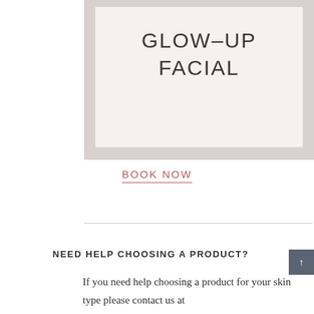[Figure (illustration): A product card with a light pink background labeled GLOW-UP FACIAL, framed by a dusty rose/mauve border.]
BOOK NOW
NEED HELP CHOOSING A PRODUCT?
If you need help choosing a product for your skin type please contact us at